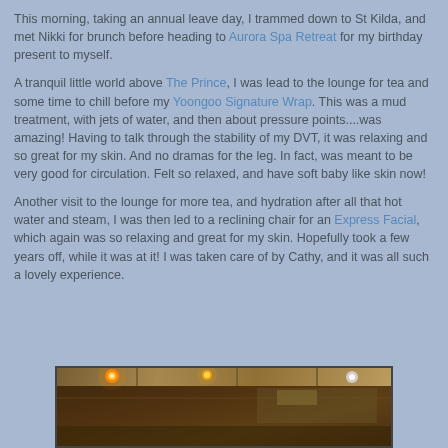This morning, taking an annual leave day, I trammed down to St Kilda, and met Nikki for brunch before heading to Aurora Spa Retreat for my birthday present to myself.
A tranquil little world above The Prince, I was lead to the lounge for tea and some time to chill before my Yoongoo Signature Wrap. This was a mud treatment, with jets of water, and then about pressure points....was amazing! Having to talk through the stability of my DVT, it was relaxing and so great for my skin. And no dramas for the leg. In fact, was meant to be very good for circulation. Felt so relaxed, and have soft baby like skin now!
Another visit to the lounge for more tea, and hydration after all that hot water and steam, I was then led to a reclining chair for an Express Facial, which again was so relaxing and great for my skin. Hopefully took a few years off, while it was at it! I was taken care of by Cathy, and it was all such a lovely experience.
[Figure (photo): Interior photo of Aurora Spa Retreat lounge area with warm lighting and ceiling details]